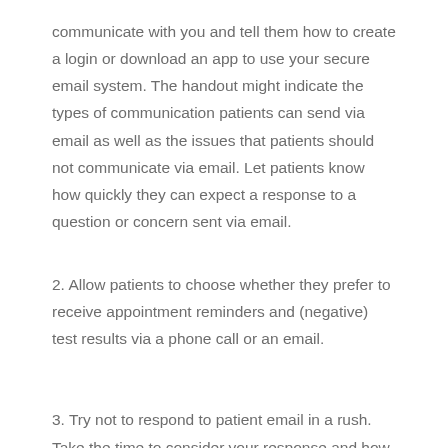communicate with you and tell them how to create a login or download an app to use your secure email system. The handout might indicate the types of communication patients can send via email as well as the issues that patients should not communicate via email. Let patients know how quickly they can expect a response to a question or concern sent via email.
2. Allow patients to choose whether they prefer to receive appointment reminders and (negative) test results via a phone call or an email.
3. Try not to respond to patient email in a rush. Take the time to consider your response and how it might be received by your